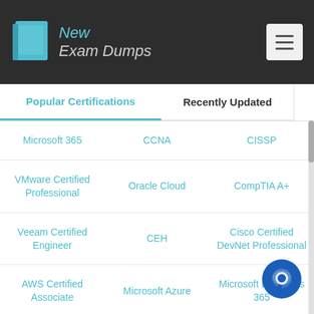[Figure (logo): New Exam Dumps logo with blue book icon and stylized text]
Popular Certifications
Recently Updated
Microsoft 365
CCNA
CISSP
VMware Certified Professional
Oracle Cloud
CompTIA A+
Veeam Certified Engineer
CEH
Cisco Certified DevNet Professional
AWS Certified Associate
Microsoft Azure
Microsoft Dynamics 365